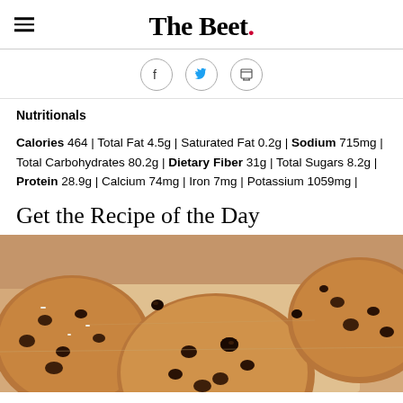The Beet.
[Figure (other): Social sharing icons: Facebook, Twitter, Print]
Nutritionals
Calories 464 | Total Fat 4.5g | Saturated Fat 0.2g | Sodium 715mg | Total Carbohydrates 80.2g | Dietary Fiber 31g | Total Sugars 8.2g | Protein 28.9g | Calcium 74mg | Iron 7mg | Potassium 1059mg |
Get the Recipe of the Day
[Figure (photo): Close-up photo of chocolate chip cookies on parchment paper]